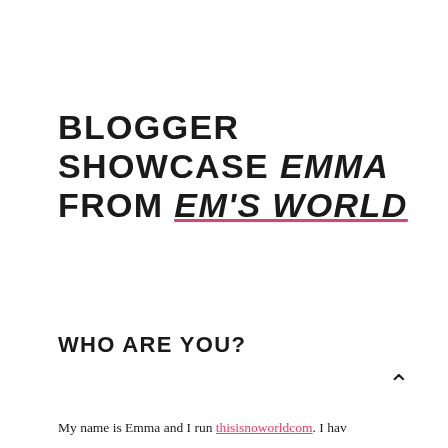BLOGGER SHOWCASE EMMA FROM EM'S WORLD
WHO ARE YOU?
My name is Emma and I run thisisnoworldcom. I hav